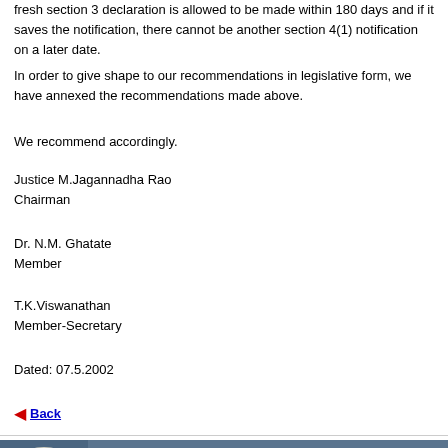fresh section 3 declaration is allowed to be made within 180 days and if it saves the notification, there cannot be another section 4(1) notification on a later date.
In order to give shape to our recommendations in legislative form, we have annexed the recommendations made above.
We recommend accordingly.
Justice M.Jagannadha Rao
Chairman
Dr. N.M. Ghatate
Member
T.K.Viswanathan
Member-Secretary
Dated: 07.5.2002
Back
[Figure (infographic): Banner with blue background, hourglass icon on left with FOLLOW YOUR text, and yellow bold text reading INTERESTED TO PURSUE A C on the right]